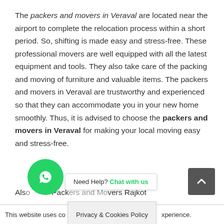The packers and movers in Veraval are located near the airport to complete the relocation process within a short period. So, shifting is made easy and stress-free. These professional movers are well equipped with all the latest equipment and tools. They also take care of the packing and moving of furniture and valuable items. The packers and movers in Veraval are trustworthy and experienced so that they can accommodate you in your new home smoothly. Thus, it is advised to choose the packers and movers in Veraval for making your local moving easy and stress-free.
Also... Packers and Movers Rajkot
This website uses co... Privacy & Cookies Policy ...xperience.